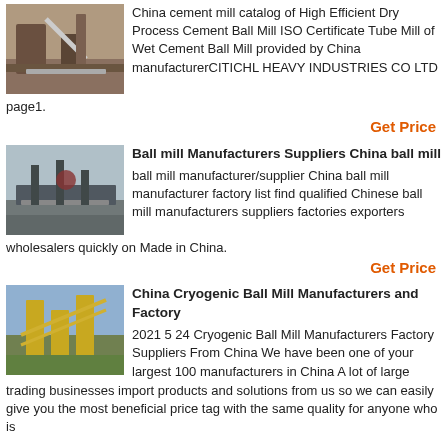[Figure (photo): Industrial cement mill or mining facility with conveyor belts and equipment]
China cement mill catalog of High Efficient Dry Process Cement Ball Mill ISO Certificate Tube Mill of Wet Cement Ball Mill provided by China manufacturerCITICHL HEAVY INDUSTRIES CO LTD page1.
Get Price
[Figure (photo): Ball mill industrial facility or mining equipment with scaffolding and machinery]
Ball mill Manufacturers Suppliers China ball mill
ball mill manufacturer/supplier China ball mill manufacturer factory list find qualified Chinese ball mill manufacturers suppliers factories exporters wholesalers quickly on Made in China.
Get Price
[Figure (photo): Cryogenic ball mill manufacturing facility with large yellow industrial structures]
China Cryogenic Ball Mill Manufacturers and Factory
2021 5 24 Cryogenic Ball Mill Manufacturers Factory Suppliers From China We have been one of your largest 100 manufacturers in China A lot of large trading businesses import products and solutions from us so we can easily give you the most beneficial price tag with the same quality for anyone who is